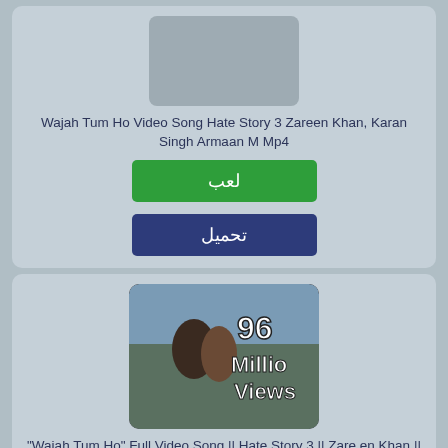[Figure (screenshot): Gray placeholder thumbnail for video card 1]
Wajah Tum Ho Video Song Hate Story 3 Zareen Khan, Karan Singh Armaan M Mp4
لعب
تحميل
[Figure (screenshot): Video thumbnail showing a couple with text '96 Million Views' for Wajah Tum Ho Full Video Song]
"Wajah Tum Ho" Full Video Song || Hate Story 3 || Zareen Khan || Karan Singh || Mixer Guru
لعب